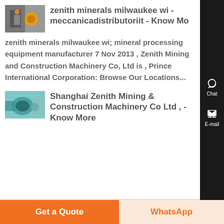zenith minerals milwaukee wi - meccanicadistributoriit - Know Mo
zenith minerals milwaukee wi; mineral processing equipment manufacturer 7 Nov 2013 , Zenith Mining and Construction Machinery Co, Ltd is , Prince International Corporation: Browse Our Locations...
Shanghai Zenith Mining & Construction Machinery Co Ltd , - Know More
Get a Quote
WhatsApp